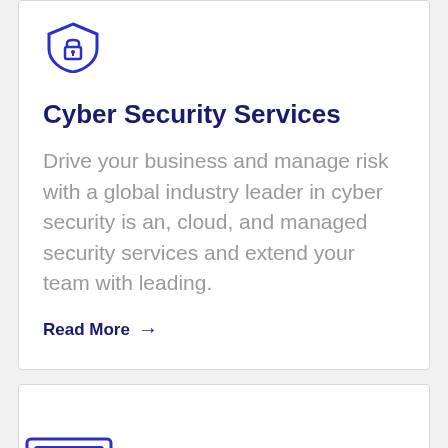[Figure (illustration): Shield with lock icon in dark blue outline style]
Cyber Security Services
Drive your business and manage risk with a global industry leader in cyber security is an, cloud, and managed security services and extend your team with leading.
Read More →
[Figure (illustration): Monitor/computer with design tools icon in dark blue outline style]
[Figure (illustration): Dark blue square button with upward chevron arrow (scroll to top button)]